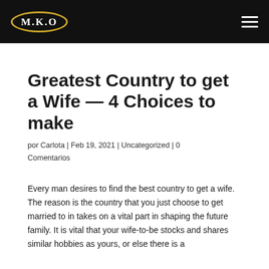M.K.O
Greatest Country to get a Wife — 4 Choices to make
por Carlota | Feb 19, 2021 | Uncategorized | 0 Comentarios
Every man desires to find the best country to get a wife. The reason is the country that you just choose to get married to in takes on a vital part in shaping the future family. It is vital that your wife-to-be stocks and shares similar hobbies as yours, or else there is a